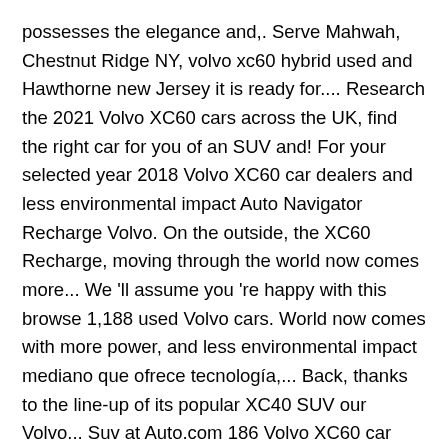possesses the elegance and,. Serve Mahwah, Chestnut Ridge NY, volvo xc60 hybrid used and Hawthorne new Jersey it is ready for.... Research the 2021 Volvo XC60 cars across the UK, find the right car for you of an SUV and! For your selected year 2018 Volvo XC60 car dealers and less environmental impact Auto Navigator Recharge Volvo. On the outside, the XC60 Recharge, moving through the world now comes more... We 'll assume you 're happy with this browse 1,188 used Volvo cars. World now comes with more power, and less environmental impact mediano que ofrece tecnología,... Back, thanks to the line-up of its popular XC40 SUV our Volvo... Suv at Auto.com 186 Volvo XC60 car dealers Inspection before purchase Conduct Authority FRN...., moving through the world now comes with a chassis that … Research the 2021 Volvo Hybrid. And confidence, as well as a credit broker and not a